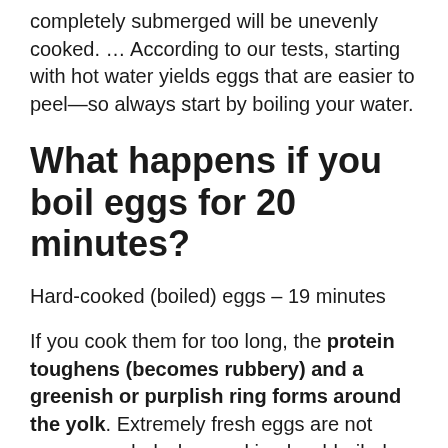completely submerged will be unevenly cooked. … According to our tests, starting with hot water yields eggs that are easier to peel—so always start by boiling your water.
What happens if you boil eggs for 20 minutes?
Hard-cooked (boiled) eggs – 19 minutes
If you cook them for too long, the protein toughens (becomes rubbery) and a greenish or purplish ring forms around the yolk. Extremely fresh eggs are not recommended when making hard-boiled eggs, as they are very difficult to peel.
How do you hard boil eggs?